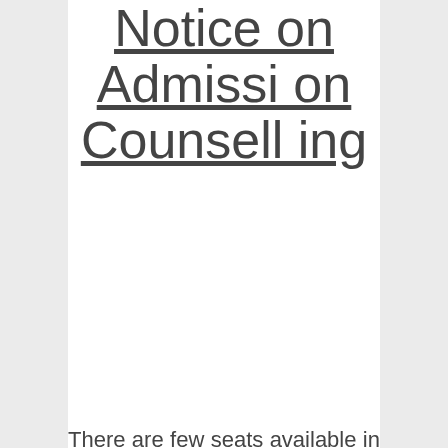Notice on Admission Counselling
There are few seats available in Open Category at RGUKT Ongole and RGUKT Srikakulam campuses. Candidates belonging to OC, EWS, SC, ST categories from SVU local area from 4001 to